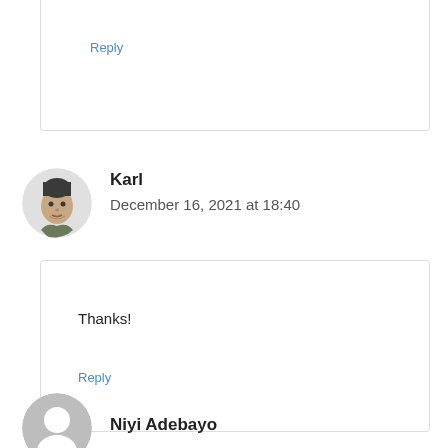Reply
Karl
December 16, 2021 at 18:40
Thanks!
Reply
Niyi Adebayo